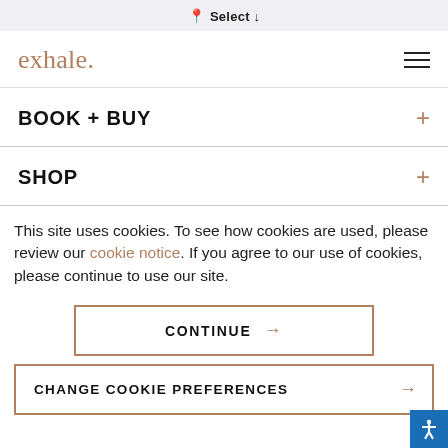📍 Select ↓
exhale.
BOOK + BUY
SHOP
This site uses cookies. To see how cookies are used, please review our cookie notice. If you agree to our use of cookies, please continue to use our site.
CONTINUE →
CHANGE COOKIE PREFERENCES →